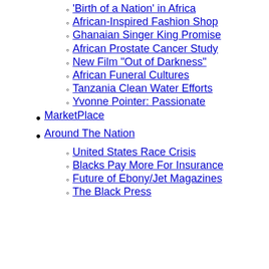'Birth of a Nation' in Africa
African-Inspired Fashion Shop
Ghanaian Singer King Promise
African Prostate Cancer Study
New Film "Out of Darkness"
African Funeral Cultures
Tanzania Clean Water Efforts
Yvonne Pointer: Passionate
MarketPlace
Around The Nation
United States Race Crisis
Blacks Pay More For Insurance
Future of Ebony/Jet Magazines
The Black Press